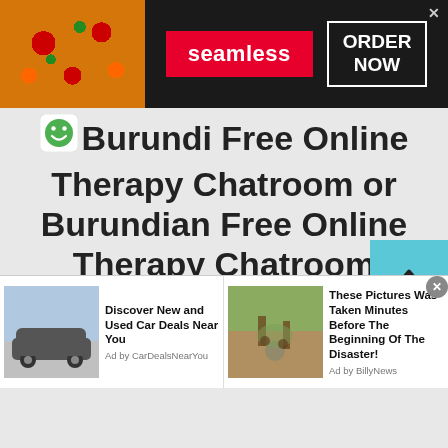[Figure (infographic): Seamless food delivery advertisement banner with pizza image on left, red Seamless logo badge in center, and ORDER NOW button with white border on dark background]
Burundi Free Online Therapy Chatroom or Burundian Free Online Therapy Chatroom
[Figure (other): Scroll to top button, cyan/teal square with upward chevron arrow]
[Figure (infographic): Advertisement for car deals: image of gray sedan car, headline 'Discover New and Used Car Deals Near You', Ad by CarDealsNearYou]
[Figure (infographic): Advertisement: image of people in flood water, headline 'These Pictures Was Taken Minutes Before The Beginning Of The Disaster!', Ad by BillyNews]